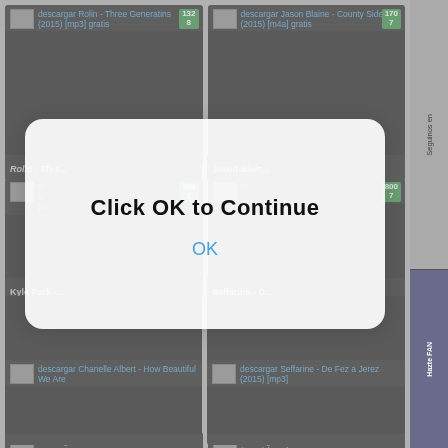[Figure (screenshot): Screenshot of a music download website showing album cards in a grid layout. Two cards visible in top row: 'Rolin - Three Generatins (2015) [mp3] gratis' with badge 1328, and 'Jason Blaine - County Side (2015) [m4a] gratis' with badge 1707. A modal dialog overlays the center reading 'Click OK to Continue' with an OK button in blue. Below the modal, partially visible cards for Kyle Park and Seffarine - D. Bottom row shows cards for Chanelle Albert - How Beautiful We Are and Seffarine - De Fez a Jerez (2015) [mp3]. Right sidebar with social/follow elements.]
Click OK to Continue
OK